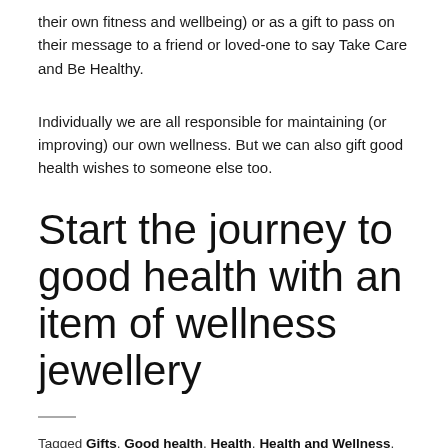their own fitness and wellbeing) or as a gift to pass on their message to a friend or loved-one to say Take Care and Be Healthy.
Individually we are all responsible for maintaining (or improving) our own wellness. But we can also gift good health wishes to someone else too.
Start the journey to good health with an item of wellness jewellery
Tagged Gifts, Good health, Health, Health and Wellness, Inspire,